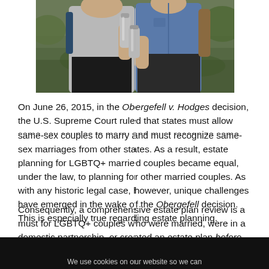[Figure (photo): Two women hiking outdoors, one in a gray top holding a metal water bottle, the other in a blue denim shirt also holding a water bottle, with greenery in the background.]
On June 26, 2015, in the Obergefell v. Hodges decision, the U.S. Supreme Court ruled that states must allow same-sex couples to marry and must recognize same-sex marriages from other states. As a result, estate planning for LGBTQ+ married couples became equal, under the law, to planning for other married couples. As with any historic legal case, however, unique challenges have emerged in the wake of the Obergefell decision. This is especially true regarding estate planning.
Consequently, a comprehensive estate plan review is a must for LGBTQ+ couples who were married, were in a domestic partnership, or created an estate plan before June 26, 2015. Your current estate plan might no longer